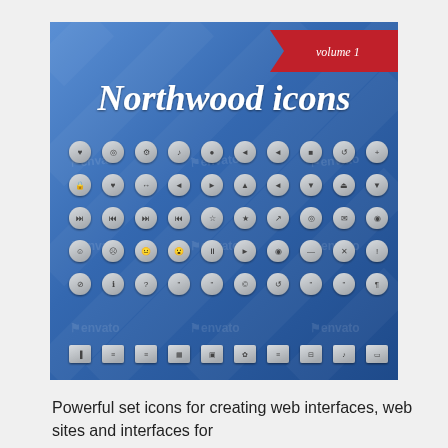[Figure (illustration): Blue gradient promotional image showing 'Northwood icons volume 1' with a grid of circular UI icons in gray/silver on a blue background. Top-right corner has a red ribbon banner saying 'volume 1'. Multiple rows of small circular and flat icons representing various UI functions. Background has diagonal 'envato' watermarks.]
Powerful set icons for creating web interfaces, web sites and interfaces for